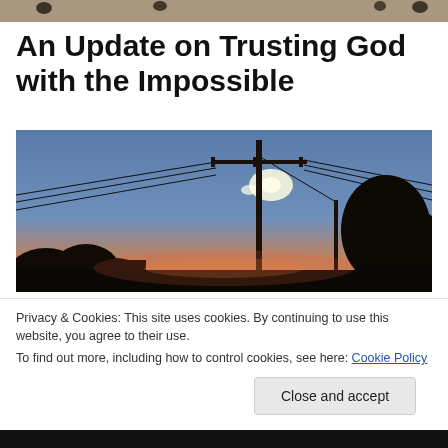An Update on Trusting God with the Impossible
[Figure (photo): Outdoor twilight/sunset scene with a utility power pole and electrical wires silhouetted against a blue and orange-pink sky, with trees silhouetted on both sides]
Privacy & Cookies: This site uses cookies. By continuing to use this website, you agree to their use.
To find out more, including how to control cookies, see here: Cookie Policy
Close and accept